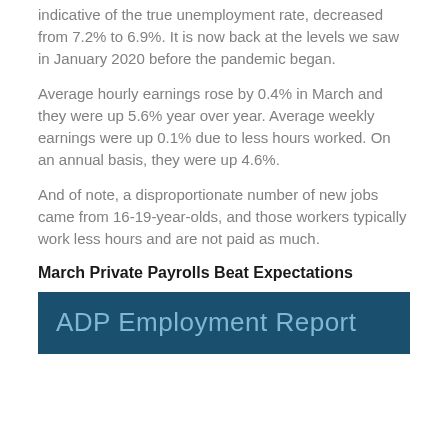indicative of the true unemployment rate, decreased from 7.2% to 6.9%. It is now back at the levels we saw in January 2020 before the pandemic began.
Average hourly earnings rose by 0.4% in March and they were up 5.6% year over year. Average weekly earnings were up 0.1% due to less hours worked. On an annual basis, they were up 4.6%.
And of note, a disproportionate number of new jobs came from 16-19-year-olds, and those workers typically work less hours and are not paid as much.
March Private Payrolls Beat Expectations
[Figure (other): ADP Employment Report banner/header image with dark teal background and light blue text]